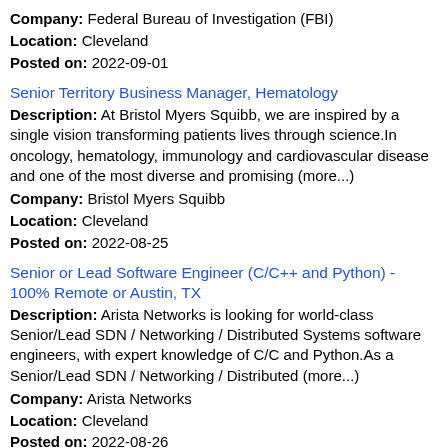Company: Federal Bureau of Investigation (FBI)
Location: Cleveland
Posted on: 2022-09-01
Senior Territory Business Manager, Hematology
Description: At Bristol Myers Squibb, we are inspired by a single vision transforming patients lives through science.In oncology, hematology, immunology and cardiovascular disease and one of the most diverse and promising (more...)
Company: Bristol Myers Squibb
Location: Cleveland
Posted on: 2022-08-25
Senior or Lead Software Engineer (C/C++ and Python) - 100% Remote or Austin, TX
Description: Arista Networks is looking for world-class Senior/Lead SDN / Networking / Distributed Systems software engineers, with expert knowledge of C/C and Python.As a Senior/Lead SDN / Networking / Distributed (more...)
Company: Arista Networks
Location: Cleveland
Posted on: 2022-08-26
Data Scientist - Digital Products - Fully Remote
Description: Brief Description of Sunnova Sunnova is a different kind of Power Company, offering solar and storage services to homeowners within the United States and its territories through